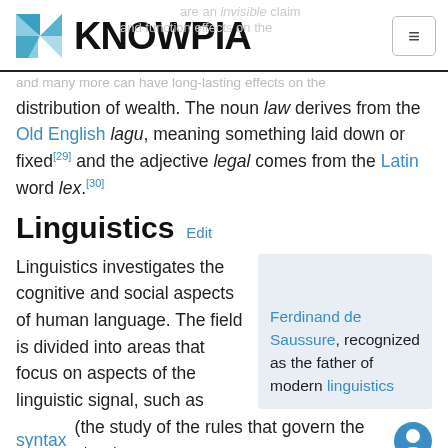KNOWPIA
distribution of wealth. The noun law derives from the Old English lagu, meaning something laid down or fixed[29] and the adjective legal comes from the Latin word lex.[30]
Linguistics  Edit
Linguistics investigates the cognitive and social aspects of human language. The field is divided into areas that focus on aspects of the linguistic signal, such as syntax (the study of the rules that govern the structure of sentences), semantics (the study of meaning),
[Figure (photo): Portrait thumbnail of Ferdinand de Saussure with caption: Ferdinand de Saussure, recognized as the father of modern linguistics]